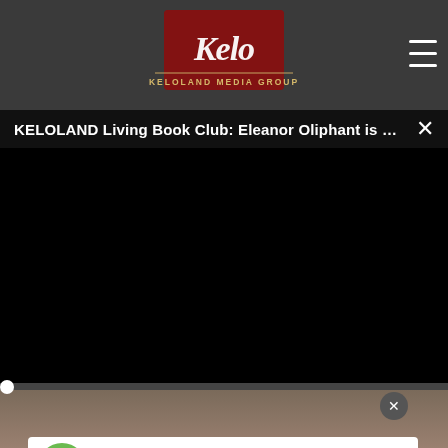[Figure (logo): Kelo / Keloland Media Group logo on dark gray header background]
KELOLAND Living Book Club: Eleanor Oliphant is Co...
[Figure (screenshot): Black video player area showing a paused/unstarted video]
[Figure (screenshot): Video player controls bar with play button, mute icon, time 00:00, captions and fullscreen icons]
[Figure (photo): Partial photo showing fingers/hands below the video player]
[Figure (infographic): AARP advertisement banner: It's not too late to take charge of your retirement. Get your top 3 tips. Ad Council AARP Real Possibilities.]